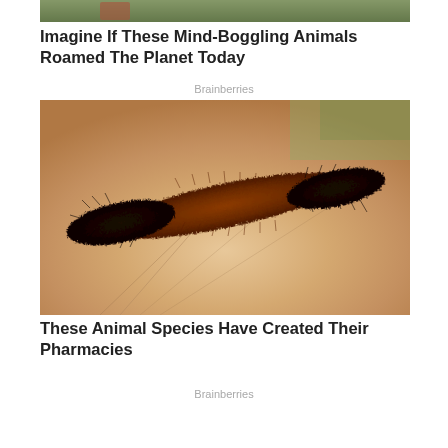[Figure (photo): Partial photo at top, showing green foliage/nature scene, cropped]
Imagine If These Mind-Boggling Animals Roamed The Planet Today
Brainberries
[Figure (photo): Close-up photo of a woolly bear caterpillar (black and reddish-brown banded) resting on a human hand]
These Animal Species Have Created Their Pharmacies
Brainberries